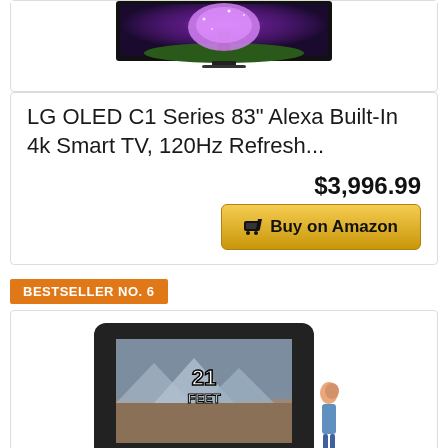[Figure (photo): LG OLED TV showing a purple glowing tree on screen, partial view of TV top portion]
LG OLED C1 Series 83" Alexa Built-In 4k Smart TV, 120Hz Refresh...
$3,996.99
Buy on Amazon
BESTSELLER NO. 6
[Figure (photo): Large black inflatable outdoor movie screen labeled 21 FEET with a person standing next to it for scale]